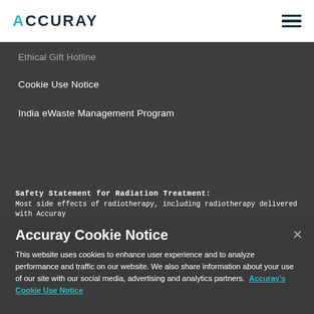ACCURAY
Ethical Gift Hotline
Cookie Use Notice
India eWaste Management Program
Safety Statement for Radiation Treatment: Most side effects of radiotherapy, including radiotherapy delivered with Accuray
Accuray Cookie Notice
This website uses cookies to enhance user experience and to analyze performance and traffic on our website. We also share information about your use of our site with our social media, advertising and analytics partners. Accuray's Cookie Use Notice